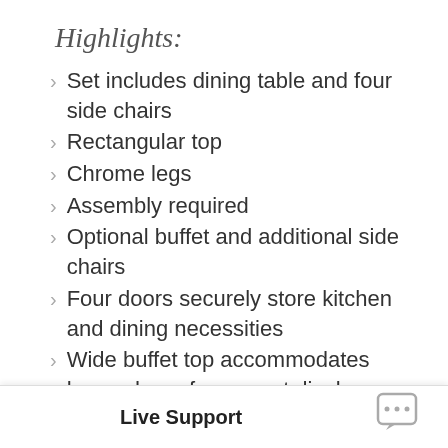Highlights:
Set includes dining table and four side chairs
Rectangular top
Chrome legs
Assembly required
Optional buffet and additional side chairs
Four doors securely store kitchen and dining necessities
Wide buffet top accommodates home decor for a great display
Chrome trim forms the piece's sleek look
Inside shelves provide additional storage
Modern designer... elegance, and s...
Live Support